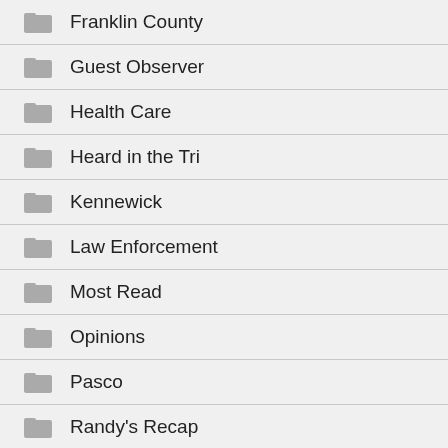Franklin County
Guest Observer
Health Care
Heard in the Tri
Kennewick
Law Enforcement
Most Read
Opinions
Pasco
Randy's Recap